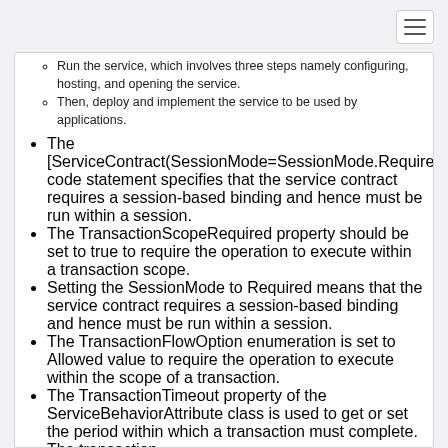Run the service, which involves three steps namely configuring, hosting, and opening the service.
Then, deploy and implement the service to be used by applications.
The [ServiceContract(SessionMode=SessionMode.Required)] code statement specifies that the service contract requires a session-based binding and hence must be run within a session.
The TransactionScopeRequired property should be set to true to require the operation to execute within a transaction scope.
Setting the SessionMode to Required means that the service contract requires a session-based binding and hence must be run within a session.
The TransactionFlowOption enumeration is set to Allowed value to require the operation to execute within the scope of a transaction.
The TransactionTimeout property of the ServiceBehaviorAttribute class is used to get or set the period within which a transaction must complete. The transaction